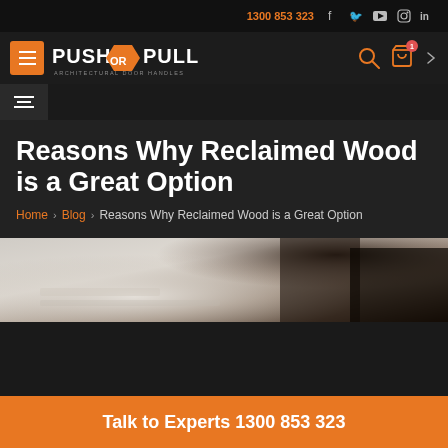1300 853 323
[Figure (logo): Push or Pull Architectural Door Handles logo with orange bowtie shape between PUSH and PULL text]
Reasons Why Reclaimed Wood is a Great Option
Home > Blog > Reasons Why Reclaimed Wood is a Great Option
[Figure (photo): Blurred photo of reclaimed wood surface with dark furniture in background]
Talk to Experts 1300 853 323